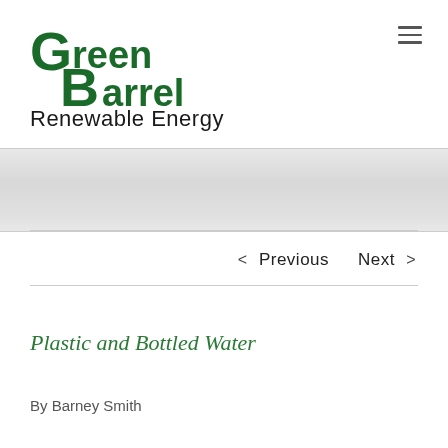[Figure (logo): Green Barrel Renewable Energy logo — stylized green block letters with a large G followed by 'reen' on first line and 'Barrel' on second line, in dark green color, with 'Renewable Energy' subtitle below in black]
< Previous   Next >
Plastic and Bottled Water
By Barney Smith